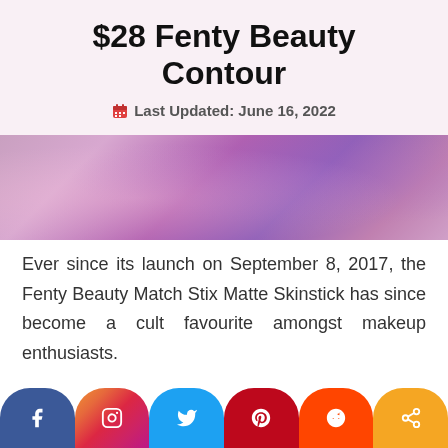$28 Fenty Beauty Contour
Last Updated: June 16, 2022
[Figure (photo): Decorative banner image with purple and pink gradient tones, likely showing a makeup product]
Ever since its launch on September 8, 2017, the Fenty Beauty Match Stix Matte Skinstick has since become a cult favourite amongst makeup enthusiasts.
[Figure (infographic): Social media share buttons: Facebook, Instagram, Twitter, Pinterest, Reddit, Share]